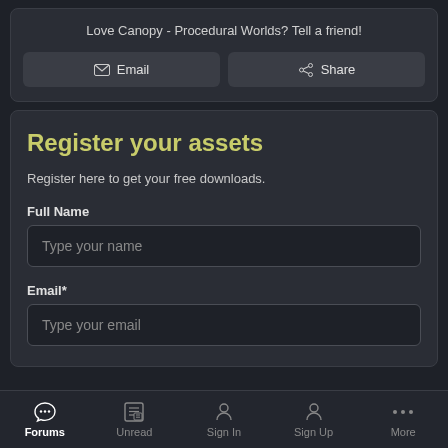Love Canopy - Procedural Worlds? Tell a friend!
Email
Share
Register your assets
Register here to get your free downloads.
Full Name
Type your name
Email*
Type your email
Forums  Unread  Sign In  Sign Up  More